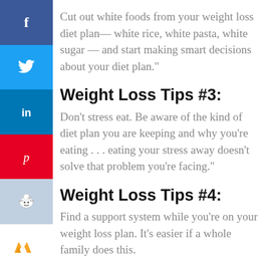Cut out white foods from your weight loss diet plan— white rice, white pasta, white sugar — and start making smart decisions about your diet plan."
Weight Loss Tips #3:
Don't stress eat. Be aware of the kind of diet plan you are keeping and why you're eating . . . eating your stress away doesn't solve that problem you're facing."
Weight Loss Tips #4:
Find a support system while you're on your weight loss plan. It's easier if a whole family does this.